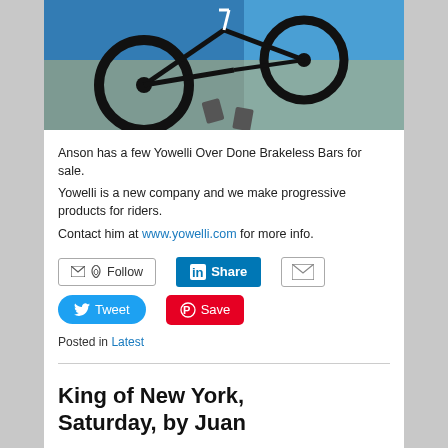[Figure (photo): Photo of a BMX bicycle wheel and frame leaning against a wall, with blue and concrete background]
Anson has a few Yowelli Over Done Brakeless Bars for sale.
Yowelli is a new company and we make progressive products for riders.
Contact him at www.yowelli.com for more info.
[Figure (infographic): Social sharing buttons: Follow (email/RSS), LinkedIn Share, Email, Tweet, Pinterest Save]
Posted in Latest
King of New York, Saturday, by Juan